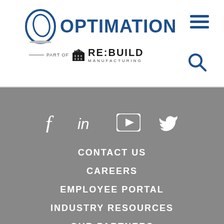[Figure (logo): Optimation logo with circular O graphic and text OPTIMATION, below is Part of RE:BUILD MANUFACTURING logo with building silhouette]
[Figure (infographic): Hamburger menu icon (three horizontal lines) in dark blue, top right of header]
[Figure (infographic): Search (magnifying glass) icon in dark blue, right side of header below hamburger]
[Figure (infographic): Social media icons row: Facebook (f), LinkedIn (in), YouTube (play button), Twitter (bird) in white on gray background]
CONTACT US
CAREERS
EMPLOYEE PORTAL
INDUSTRY RESOURCES
OUR PARTNERS